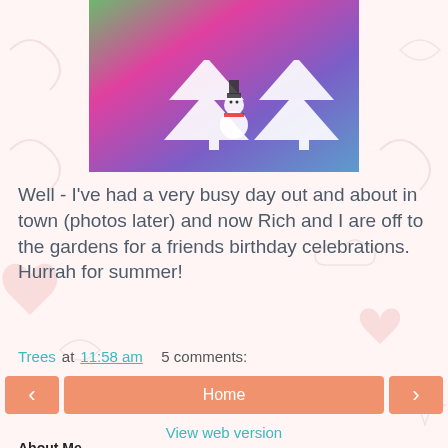[Figure (photo): Colorful photo with green, pink, purple background and white Christmas tree and snowman silhouette overlays]
Well - I've had a very busy day out and about in town (photos later) and now Rich and I are off to the gardens for a friends birthday celebrations. Hurrah for summer!
Trees at 11:58 am   5 comments:
[Figure (other): Navigation buttons: left arrow, Home, right arrow]
View web version
About Me
[Figure (photo): Small thumbnail photo and Blogger icon with Trees username]
I love fashion, zombies, craft, travel, cupcakes, horror